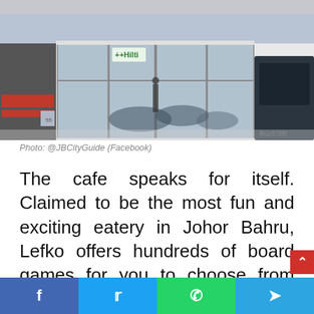[Figure (photo): Exterior of Lefko cafe/store in Johor Bahru, showing glass facade, signage with green cross, reflections of parked cars and street outside, dark SUV on right side.]
Photo: @JBCityGuide (Facebook)
The cafe speaks for itself. Claimed to be the most fun and exciting eatery in Johor Bahru, Lefko offers hundreds of board games for you to choose from and enjoy. You might be surprised looking at their rows upon rows of shelves filled with board games. What better way to bond with your loved ones than competing with each other in light games and develop a healthy competitive spirit. You migh…